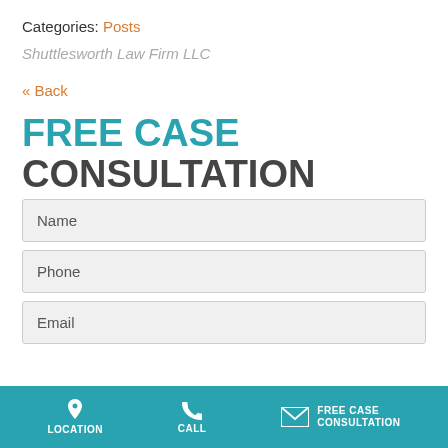Categories: Posts
Shuttlesworth Law Firm LLC
« Back
FREE CASE CONSULTATION
Name
Phone
Email
LOCATION  CALL  FREE CASE CONSULTATION